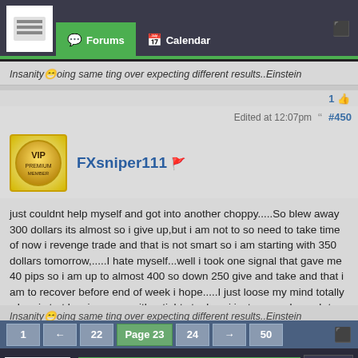[Figure (screenshot): Forum navigation bar with logo, Forums and Calendar tabs]
Insanity😁oing same ting over expecting different results..Einstein
1 👍
Edited at 12:07pm  #450
[Figure (photo): VIP badge/avatar for user FXsniper111]
FXsniper111 🚩
just couldnt help myself and got into another choppy.....So blew away 300 dollars its almost so i give up,but i am not to so need to take time of now i revenge trade and that is not smart so i am starting with 350 dollars tomorrow,.....I hate myself...well i took one signal that gave me 40 pips so i am up to almost 400 so down 250 give and take and that i am to recover before end of week i hope.....I just loose my mind totally when i start loosing even with a tight stoploss i just open a bounch to try and recover fast i need to learn to take losses....Ok i done writing now i am sure you are tired of me...lol
Insanity😁oing same ting over expecting different results..Einstein
1 ← 22 Page 23 24 → 50
[Figure (screenshot): Forex.com advertisement - LEVEL UP YOUR TRADING banner]